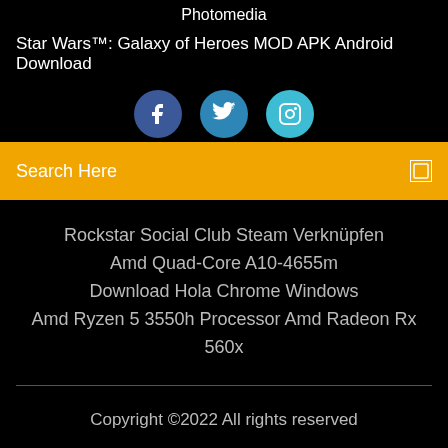Photomedia
Star Wars™: Galaxy of Heroes MOD APK Android Download
[Figure (illustration): Three social media icon buttons: Facebook (dark blue circle with 'f'), Twitter (medium blue circle with bird icon), Instagram (light blue circle with camera icon)]
Search Here
Rockstar Social Club Steam Verknüpfen
Amd Quad-Core A10-4655m
Download Hola Chrome Windows
Amd Ryzen 5 3550h Processor Amd Radeon Rx 560x
Copyright ©2022 All rights reserved